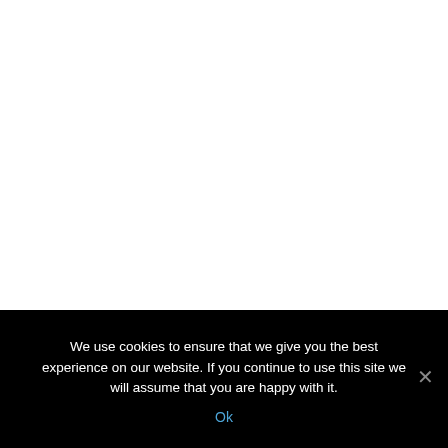We use cookies to ensure that we give you the best experience on our website. If you continue to use this site we will assume that you are happy with it.
Ok